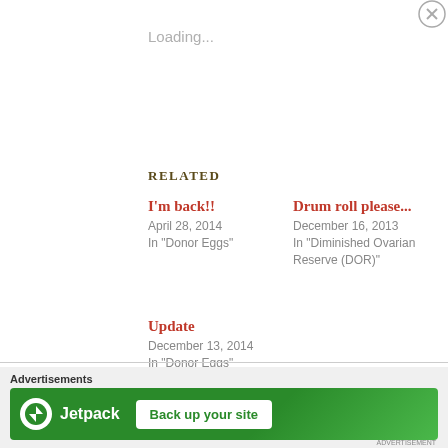Loading...
Related
I'm back!!
April 28, 2014
In "Donor Eggs"
Drum roll please...
December 16, 2013
In "Diminished Ovarian Reserve (DOR)"
Update
December 13, 2014
In "Donor Eggs"
Advertisements
[Figure (screenshot): Jetpack advertisement banner with 'Back up your site' button on green background]